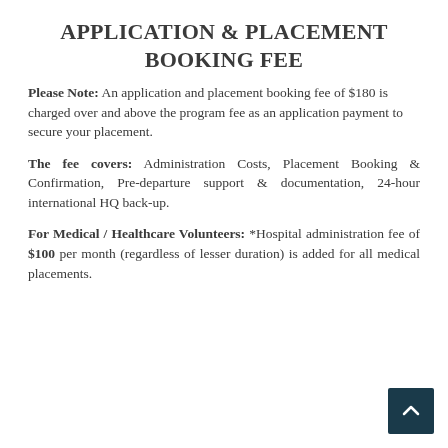APPLICATION & PLACEMENT BOOKING FEE
Please Note: An application and placement booking fee of $180 is charged over and above the program fee as an application payment to secure your placement.
The fee covers: Administration Costs, Placement Booking & Confirmation, Pre-departure support & documentation, 24-hour international HQ back-up.
For Medical / Healthcare Volunteers: *Hospital administration fee of $100 per month (regardless of lesser duration) is added for all medical placements.